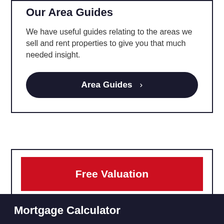Our Area Guides
We have useful guides relating to the areas we sell and rent properties to give you that much needed insight.
Area Guides >
Free Valuation
Mortgage Calculator
We have created a quick & easy online